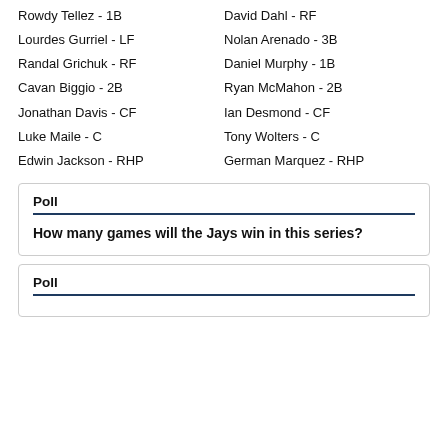Rowdy Tellez - 1B
David Dahl - RF
Lourdes Gurriel - LF
Nolan Arenado - 3B
Randal Grichuk - RF
Daniel Murphy - 1B
Cavan Biggio - 2B
Ryan McMahon - 2B
Jonathan Davis - CF
Ian Desmond - CF
Luke Maile - C
Tony Wolters - C
Edwin Jackson - RHP
German Marquez - RHP
Poll
How many games will the Jays win in this series?
Poll